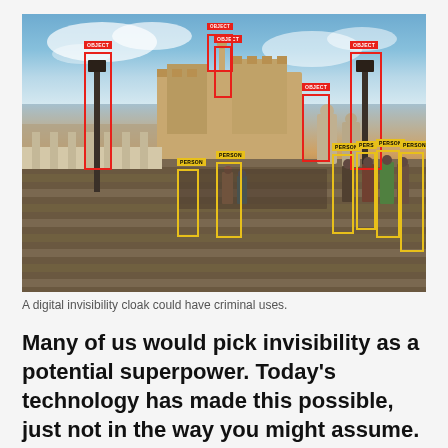[Figure (photo): Photo of Castel Sant'Angelo in Rome with a crowd of tourists on the bridge, overlaid with object detection bounding boxes. Red boxes labeled 'OBJECT' highlight statues and lamp posts; yellow boxes labeled 'PERSON' highlight pedestrians.]
A digital invisibility cloak could have criminal uses.
Many of us would pick invisibility as a potential superpower. Today's technology has made this possible, just not in the way you might assume.